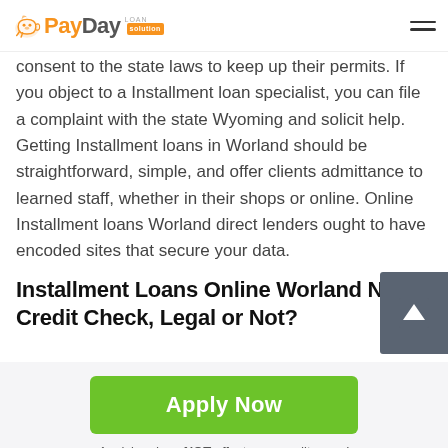PayDay Loan Solution
consent to the state laws to keep up their permits. If you object to a Installment loan specialist, you can file a complaint with the state Wyoming and solicit help. Getting Installment loans in Worland should be straightforward, simple, and offer clients admittance to learned staff, whether in their shops or online. Online Installment loans Worland direct lenders ought to have encoded sites that secure your data.
Installment Loans Online Worland No Credit Check, Legal or Not?
[Figure (other): Green upward arrow scroll-to-top button]
Apply Now
Applying does NOT affect your credit score!
No credit check to apply.